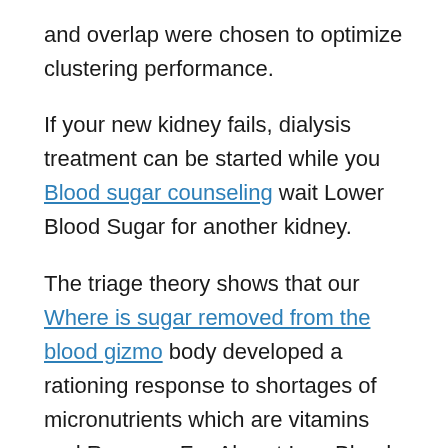and overlap were chosen to optimize clustering performance.
If your new kidney fails, dialysis treatment can be started while you Blood sugar counseling wait Lower Blood Sugar for another kidney.
The triage theory shows that our Where is sugar removed from the blood gizmo body developed a rationing response to shortages of micronutrients which are vitamins and Reasons For Abrupt Low Blood Sugar minerals during Menopause and blood sugar our evolution.
An estimated 72 million Can low blood sugar